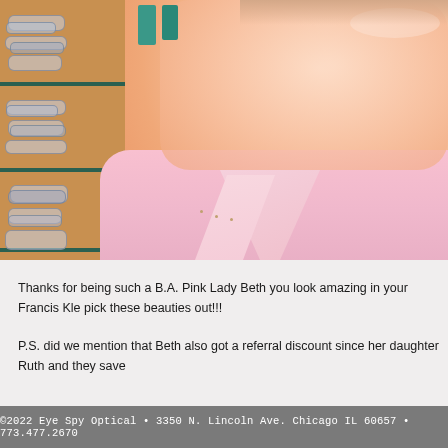[Figure (photo): Photo of a smiling older woman in a pink shirt inside an optical store. Behind her on the left is a wooden display shelf with multiple pairs of eyeglasses. A teal/turquoise colored cabinet is visible in the background.]
Thanks for being such a B.A. Pink Lady Beth you look amazing in your Francis Kle pick these beauties out!!!
P.S. did we mention that Beth also got a referral discount since her daughter Ruth and they save
©2022 Eye Spy Optical • 3350 N. Lincoln Ave. Chicago IL 60657 • 773.477.2670